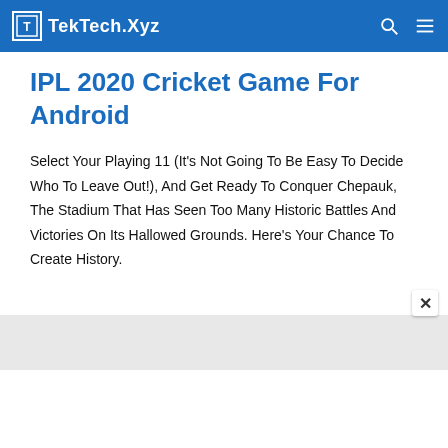TekTech.Xyz
IPL 2020 Cricket Game For Android
Select Your Playing 11 (It's Not Going To Be Easy To Decide Who To Leave Out!), And Get Ready To Conquer Chepauk, The Stadium That Has Seen Too Many Historic Battles And Victories On Its Hallowed Grounds. Here's Your Chance To Create History.